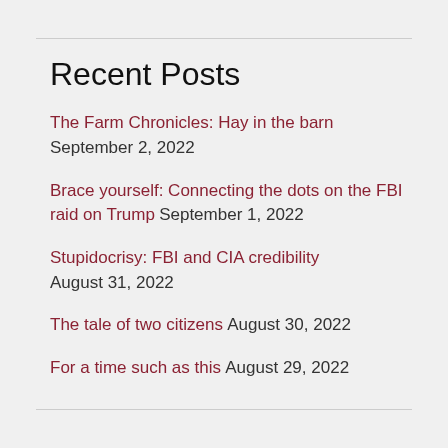Recent Posts
The Farm Chronicles: Hay in the barn September 2, 2022
Brace yourself: Connecting the dots on the FBI raid on Trump September 1, 2022
Stupidocrisy: FBI and CIA credibility August 31, 2022
The tale of two citizens August 30, 2022
For a time such as this August 29, 2022